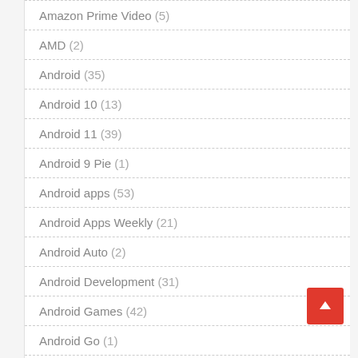Amazon Prime Video (5)
AMD (2)
Android (35)
Android 10 (13)
Android 11 (39)
Android 9 Pie (1)
Android apps (53)
Android Apps Weekly (21)
Android Auto (2)
Android Development (31)
Android Games (42)
Android Go (1)
Android Launchers (2)